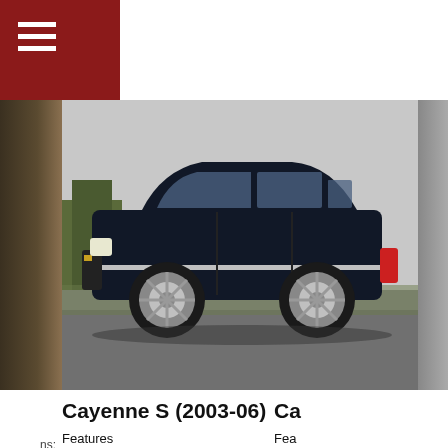[Figure (photo): Dark-colored Porsche Cayenne S SUV photographed from the side on a road, with chrome wheels visible]
Cayenne S (2003-06)
Features
Body made of fully galvanised sheet steel // Tailgate that folds all the way up // Flexible plastic front and rear aprons // Two individual tailpipes // Black roof rail system // Titanium-coloured brake callipers // Acceleration from 0 to 100 km/h in 6.8 seconds // Maximum speed of 242 km/h